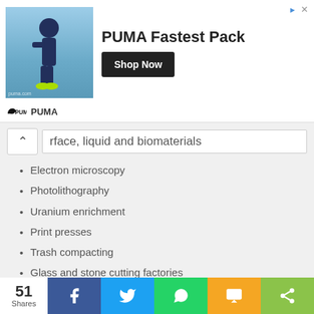[Figure (screenshot): PUMA Fastest Pack advertisement banner with athlete image, bold title text, Shop Now button, and PUMA brand logo]
rface, liquid and biomaterials
Electron microscopy
Photolithography
Uranium enrichment
Print presses
Trash compacting
Glass and stone cutting factories
Cabinetry fabrication
Ophthalmic coating
Sewage systems
Vacuum coating and engineering are required for
51 Shares